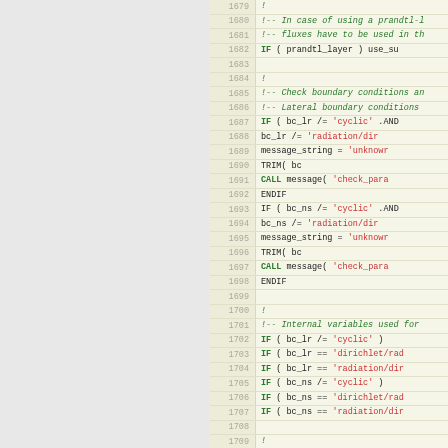[Figure (screenshot): Source code listing (Fortran) with line numbers 1679–1710, showing boundary condition checks for prandtl_layer, bc_lr, and bc_ns variables, with keywords in bold green, comments in italic green, and string literals in red.]